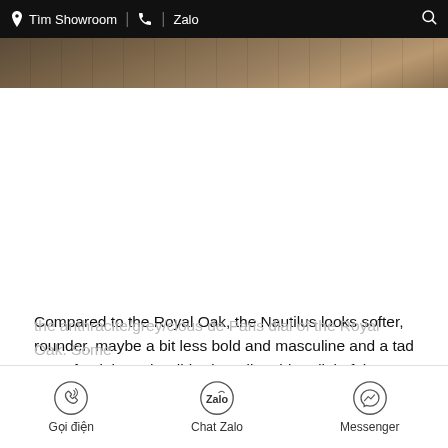Tìm Showroom | ☎ | Zalo 🔍
[Figure (photo): Partial photo of a watch or wood-textured surface in brown tones at the top of the page]
Compared to the Royal Oak, the Nautilus looks softer, rounder, maybe a bit less bold and masculine and a tad more feminine. The ribbed gradient blue dial of the Nautilus looks more elegant than the anthracite/grey/clous de Paris dial of the Royal Oak. Some
Gọi điện   Chat Zalo   Messenger